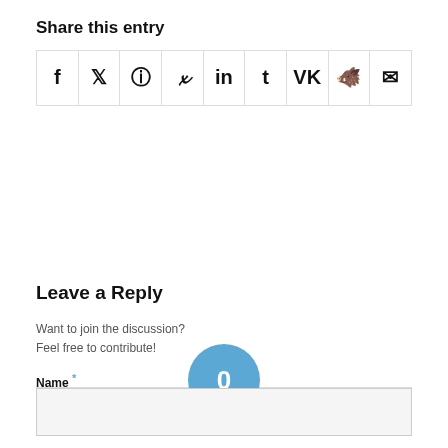Share this entry
[Figure (other): Row of social sharing icon buttons: Facebook (f), Twitter (bird), WhatsApp, Pinterest, LinkedIn (in), Tumblr (t), VK (VK), Reddit, Email (envelope)]
[Figure (other): Blue circle with white '0' and 'REPLIES' label below, centered on a horizontal divider line]
Leave a Reply
Want to join the discussion?
Feel free to contribute!
Name *